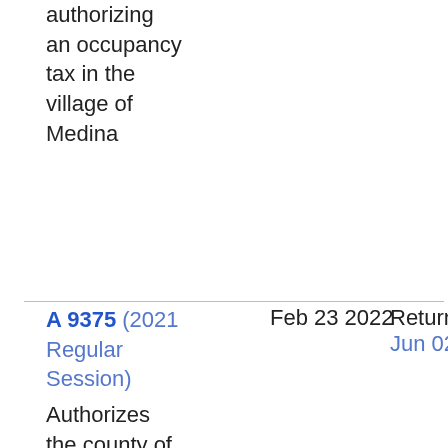authorizing an occupancy tax in the village of Medina
A 9375 (2021 Regular Session)  Feb 23 2022  Returned To Assembly Jun 02 2022
Authorizes the county of Orleans to offer an optional twenty year retirement plan to Ryan Flaherty, a deputy sheriff